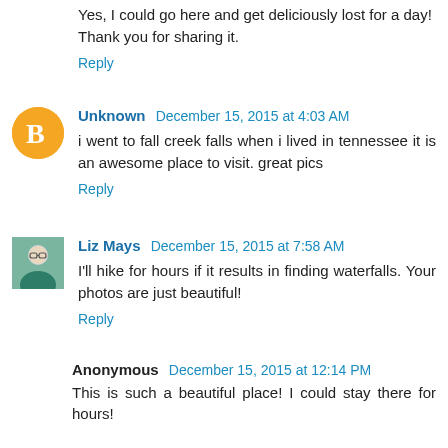Yes, I could go here and get deliciously lost for a day! Thank you for sharing it.
Reply
Unknown December 15, 2015 at 4:03 AM
i went to fall creek falls when i lived in tennessee it is an awesome place to visit. great pics
Reply
Liz Mays December 15, 2015 at 7:58 AM
I'll hike for hours if it results in finding waterfalls. Your photos are just beautiful!
Reply
Anonymous December 15, 2015 at 12:14 PM
This is such a beautiful place! I could stay there for hours!